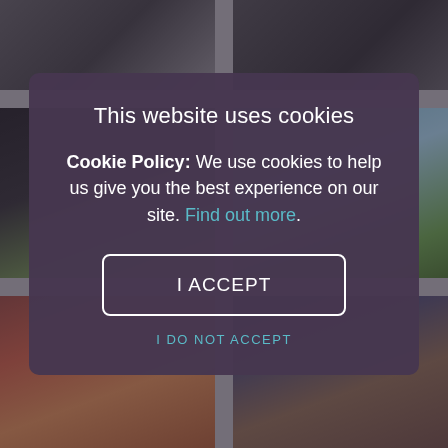[Figure (screenshot): Background showing a grid of food and restaurant photos arranged in a 2-column layout with gray gaps, partially visible behind the cookie consent modal.]
[Figure (screenshot): Cookie consent modal overlay on a restaurant/food website. Dark purple modal with title 'This website uses cookies', body text explaining cookie policy with 'Find out more' link, an 'I ACCEPT' button, and 'I DO NOT ACCEPT' link.]
This website uses cookies
Cookie Policy: We use cookies to help us give you the best experience on our site. Find out more.
I ACCEPT
I DO NOT ACCEPT